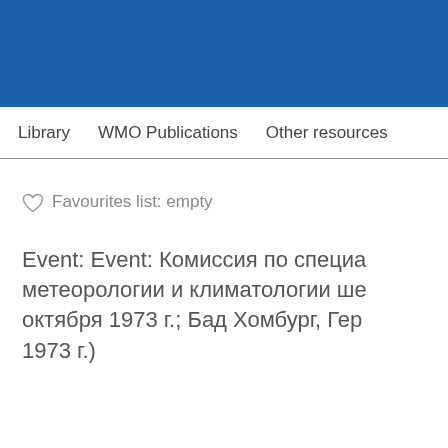Library   WMO Publications   Other resources
Favourites list: empty
Event: Event: Комиссия по специа метеорологии и климатологии ше октября 1973 г.; Бад Хомбург, Гер 1973 г.)